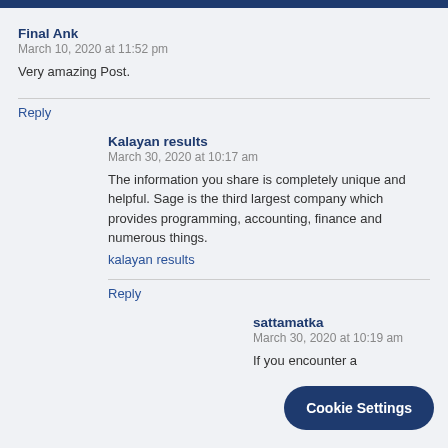Final Ank
March 10, 2020 at 11:52 pm
Very amazing Post.
Reply
Kalayan results
March 30, 2020 at 10:17 am
The information you share is completely unique and helpful. Sage is the third largest company which provides programming, accounting, finance and numerous things.
kalayan results
Reply
sattamatka
March 30, 2020 at 10:19 am
If you encounter a
Cookie Settings